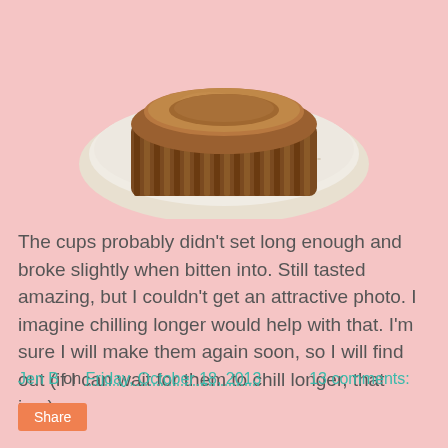[Figure (photo): A Reese's peanut butter cup sitting on a white plate, viewed from slightly above. The chocolate cup has a ridged edge and smooth brown top.]
The cups probably didn't set long enough and broke slightly when bitten into. Still tasted amazing, but I couldn't get an attractive photo. I imagine chilling longer would help with that. I'm sure I will make them again soon, so I will find out (if I can wait for them to chill longer, that is...).
Jen B on Friday, October 18, 2013    13 comments:
Share